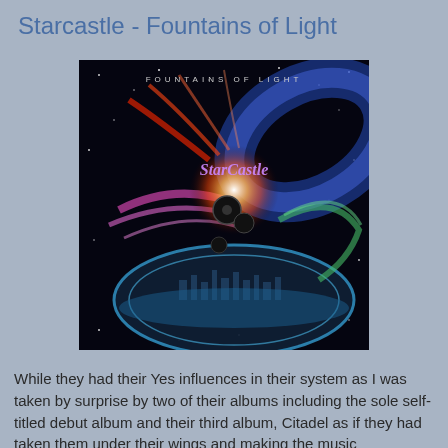Starcastle - Fountains of Light
[Figure (photo): Album cover for Starcastle 'Fountains of Light' — dark space scene with colorful swirling cosmic shapes, text 'FOUNTAINS OF LIGHT' at top and 'STARCASTLE' logo in center-upper area.]
While they had their Yes influences in their system as I was taken by surprise by two of their albums including the sole self-titled debut album and their third album, Citadel as if they had taken them under their wings and making the music